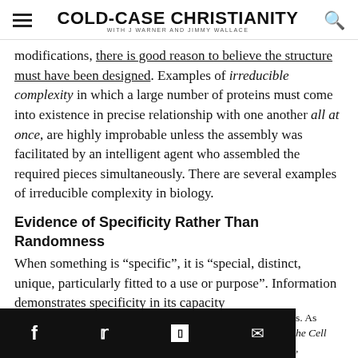COLD-CASE CHRISTIANITY WITH J WARNER AND JIMMY WALLACE
modifications, there is good reason to believe the structure must have been designed. Examples of irreducible complexity in which a large number of proteins must come into existence in precise relationship with one another all at once, are highly improbable unless the assembly was facilitated by an intelligent agent who assembled the required pieces simultaneously. There are several examples of irreducible complexity in biology.
Evidence of Specificity Rather Than Randomness
When something is “specific”, it is “special, distinct, unique, particularly fitted to a use or purpose”. Information demonstrates specificity in its capacity
s. As he Cell,
f     �  ▮  ✉  s. As he Cell,